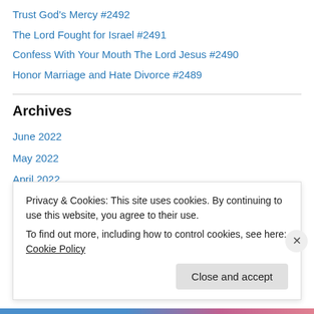Trust God's Mercy #2492
The Lord Fought for Israel #2491
Confess With Your Mouth The Lord Jesus #2490
Honor Marriage and Hate Divorce #2489
Archives
June 2022
May 2022
April 2022
March 2022
February 2022
Privacy & Cookies: This site uses cookies. By continuing to use this website, you agree to their use. To find out more, including how to control cookies, see here: Cookie Policy
Close and accept